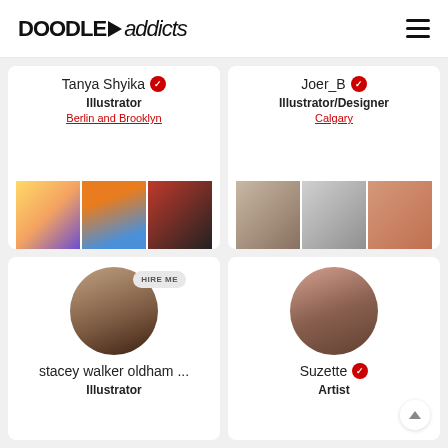DoodleAddicts
Tanya Shyika
Illustrator
Berlin and Brooklyn
[Figure (photo): Three portfolio thumbnail images for Tanya Shyika: colorful illustration of a girl, orange cityscape, red/black city scene]
Joer_B
Illustrator/Designer
Calgary
[Figure (photo): Three portfolio thumbnail images for Joer_B: figure drawing, pencil portrait face, red-hair figure sketch]
stacey walker oldham ...
Illustrator
[Figure (photo): Profile photo of stacey walker oldham: woman with long dark hair, with HIRE ME badge]
Suzette
Artist
[Figure (photo): Profile photo of Suzette: young woman with tattoos holding something pink]